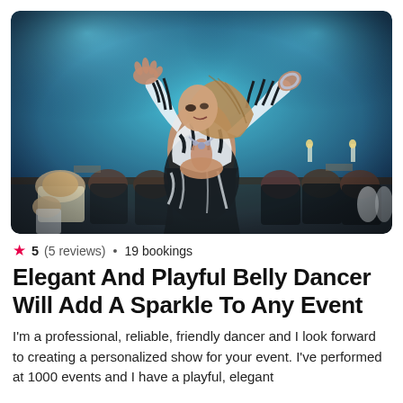[Figure (photo): Belly dancer in black and white zebra-print costume performing at a formal event, arms raised, audience seated in background with blue ambient lighting]
★ 5 (5 reviews) • 19 bookings
Elegant And Playful Belly Dancer Will Add A Sparkle To Any Event
I'm a professional, reliable, friendly dancer and I look forward to creating a personalized show for your event. I've performed at 1000 events and I have a playful, elegant